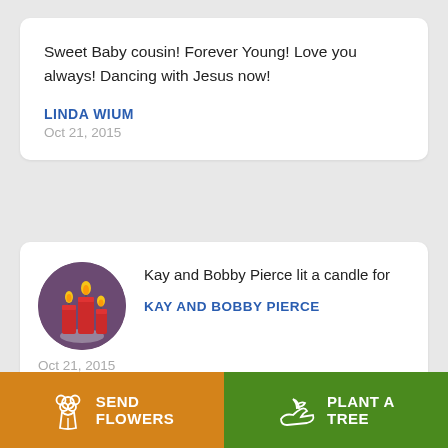Sweet Baby cousin! Forever Young! Love you always! Dancing with Jesus now!
LINDA WIUM
Oct 21, 2015
[Figure (illustration): Circular icon with purple background showing red candles with yellow flames]
Kay and Bobby Pierce lit a candle for
KAY AND BOBBY PIERCE
Oct 21, 2015
SEND FLOWERS
PLANT A TREE